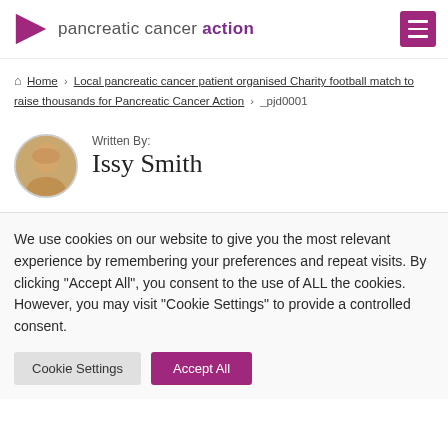pancreatic cancer action
Home > Local pancreatic cancer patient organised Charity football match to raise thousands for Pancreatic Cancer Action > _pjd0001
Written By: Issy Smith
We use cookies on our website to give you the most relevant experience by remembering your preferences and repeat visits. By clicking "Accept All", you consent to the use of ALL the cookies. However, you may visit "Cookie Settings" to provide a controlled consent.